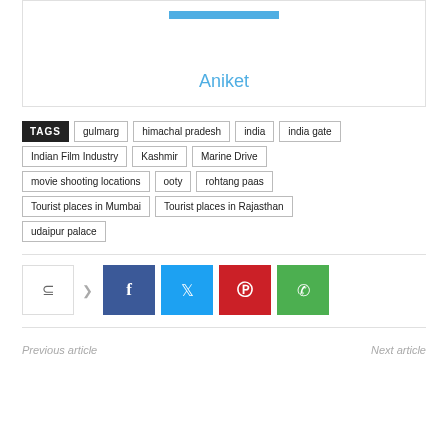[Figure (other): Author profile box with image placeholder (blue bar) and author name link 'Aniket']
Aniket
TAGS  gulmarg  himachal pradesh  india  india gate  Indian Film Industry  Kashmir  Marine Drive  movie shooting locations  ooty  rohtang paas  Tourist places in Mumbai  Tourist places in Rajasthan  udaipur palace
[Figure (infographic): Social share bar with share icon button, Facebook, Twitter, Pinterest, WhatsApp buttons]
Previous article
Next article